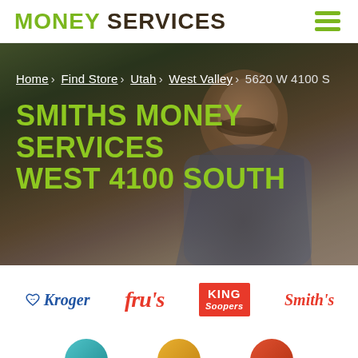MONEY SERVICES
[Figure (screenshot): Hero banner with background photo of a child and adult. Breadcrumb navigation: Home › Find Store › Utah › West Valley › 5620 W 4100 S. Large green title: SMITHS MONEY SERVICES WEST 4100 SOUTH]
[Figure (logo): Kroger logo]
[Figure (logo): Fry's logo]
[Figure (logo): King Soopers logo]
[Figure (logo): Smith's logo]
[Figure (logo): Partial logos row at bottom (teal circle, gold circle, red circle)]